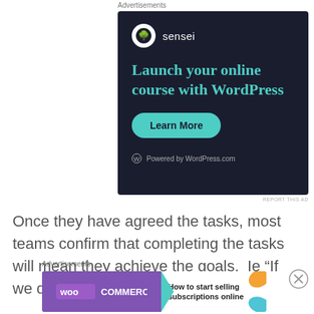Advertisements
[Figure (illustration): Sensei advertisement on dark background: Sensei logo (white circle with tree icon) and text 'sensei', headline 'Launch your online course with WordPress' in teal, green 'Learn More' button, 'Powered by WordPress.com' footer]
REPORT THIS AD
Once they have agreed the tasks, most teams confirm that completing the tasks will mean they achieve the goals.  Ie “If we do these things, then this
Advertisements
[Figure (illustration): WooCommerce advertisement: purple left panel with WooCommerce logo and teal arrow, white right panel with text 'How to start selling subscriptions online', orange and blue leaf decorations]